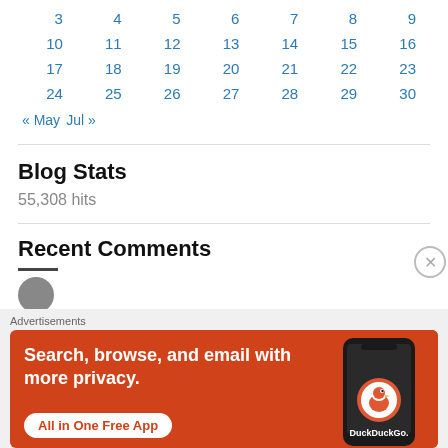| 3 | 4 | 5 | 6 | 7 | 8 | 9 |
| 10 | 11 | 12 | 13 | 14 | 15 | 16 |
| 17 | 18 | 19 | 20 | 21 | 22 | 23 |
| 24 | 25 | 26 | 27 | 28 | 29 | 30 |
« May   Jul »
Blog Stats
55,308 hits
Recent Comments
[Figure (other): DuckDuckGo advertisement banner: Search, browse, and email with more privacy. All in One Free App.]